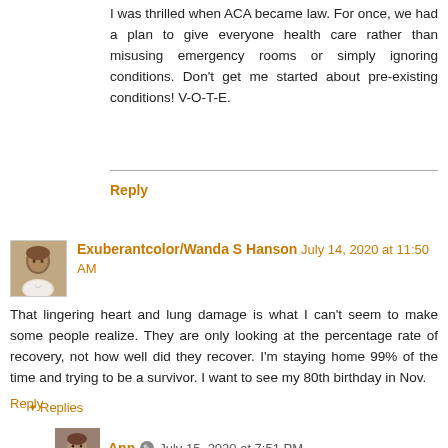I was thrilled when ACA became law. For once, we had a plan to give everyone health care rather than misusing emergency rooms or simply ignoring conditions. Don't get me started about pre-existing conditions! V-O-T-E.
Reply
Exuberantcolor/Wanda S Hanson  July 14, 2020 at 11:50 AM
That lingering heart and lung damage is what I can't seem to make some people realize. They are only looking at the percentage rate of recovery, not how well did they recover. I'm staying home 99% of the time and trying to be a survivor. I want to see my 80th birthday in Nov.
Reply
▾ Replies
Ann  July 15, 2020 at 7:51 PM